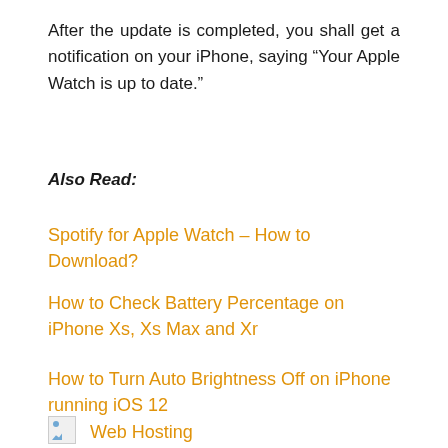After the update is completed, you shall get a notification on your iPhone, saying “Your Apple Watch is up to date.”
Also Read:
Spotify for Apple Watch – How to Download?
How to Check Battery Percentage on iPhone Xs, Xs Max and Xr
How to Turn Auto Brightness Off on iPhone running iOS 12
Web Hosting